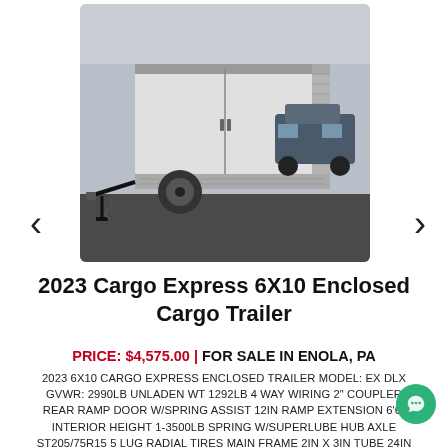[Figure (photo): White enclosed cargo trailer (2023 Cargo Express 6x10) with rear ramp and aluminum corner guards, photographed outdoors on a parking lot. Navigation arrows on left and right sides of the image viewer.]
2023 Cargo Express 6X10 Enclosed Cargo Trailer
PRICE: $4,575.00 | FOR SALE IN ENOLA, PA
2023 6X10 CARGO EXPRESS ENCLOSED TRAILER MODEL: EX DLX GVWR: 2990LB UNLADEN WT 1292LB 4 WAY WIRING 2" COUPLER REAR RAMP DOOR W/SPRING ASSIST 12IN RAMP EXTENSION 6'6" INTERIOR HEIGHT 1-3500LB SPRING W/SUPERLUBE HUB AXLE ST205/75R15 5 LUG RADIAL TIRES MAIN FRAME 2IN X 3IN TUBE 24IN ON CENTER